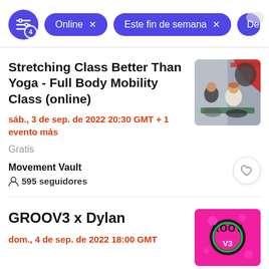Online × | Este fin de semana × | Depor…
Stretching Class Better Than Yoga - Full Body Mobility Class (online)
sáb., 3 de sep. de 2022 20:30 GMT + 1 evento más
Gratis
Movement Vault
595 seguidores
[Figure (photo): Photo of two people doing stretching/yoga exercises in a gym setting]
GROOV3 x Dylan
dom., 4 de sep. de 2022 18:00 GMT
[Figure (photo): Colorful pink and green GROOV3 logo/branding image]